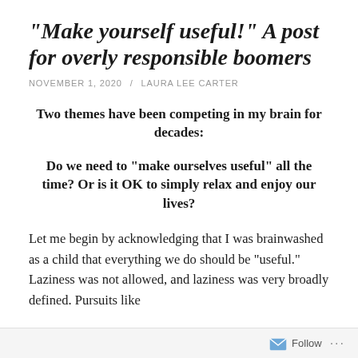“Make yourself useful!” A post for overly responsible boomers
NOVEMBER 1, 2020 / LAURA LEE CARTER
Two themes have been competing in my brain for decades:
Do we need to “make ourselves useful” all the time? Or is it OK to simply relax and enjoy our lives?
Let me begin by acknowledging that I was brainwashed as a child that everything we do should be “useful.” Laziness was not allowed, and laziness was very broadly defined. Pursuits like
Follow